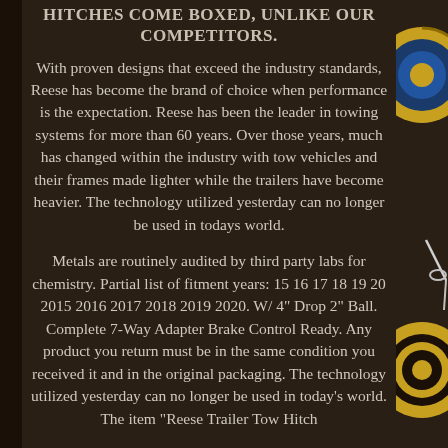HITCHES COME BOXED, UNLIKE OUR COMPETITORS.
With proven designs that exceed the industry standards, Reese has become the brand of choice when performance is the expectation. Reese has been the leader in towing systems for more than 60 years. Over those years, much has changed within the industry with tow vehicles and their frames made lighter while the trailers have become heavier. The technology utilized yesterday can no longer be used in todays world.
Metals are routinely audited by third party labs for chemistry. Partial list of fitment years: 15 16 17 18 19 20 2015 2016 2017 2018 2019 2020. W/ 4" Drop 2" Ball. Complete 7-Way Adapter Brake Control Ready. Any product you return must be in the same condition you received it and in the original packaging. The technology utilized yesterday can no longer be used in today's world. The item "Reese Trailer Tow Hitch
[Figure (photo): Right side strip showing partial views of circular trailer hitch components/balls with gold and blue coloring against dark background]